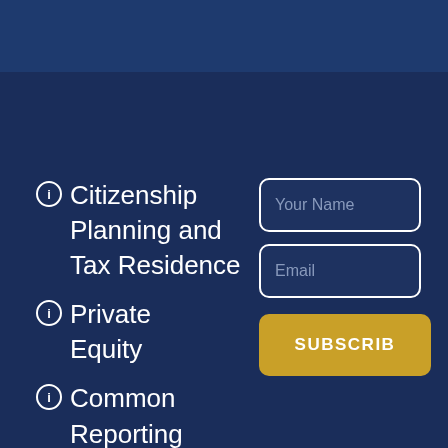ℹ Citizenship Planning and Tax Residence
ℹ Private Equity
ℹ Common Reporting Standard (CRS)
Your Name
Email
SUBSCRIBE